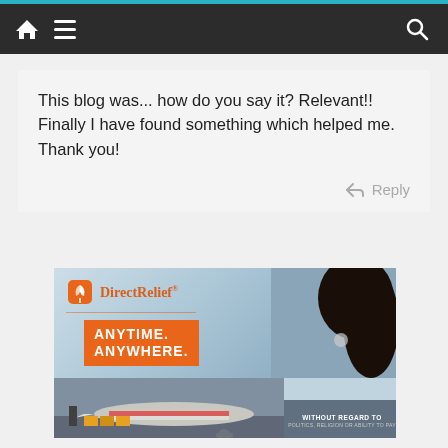[Figure (screenshot): Website navigation bar with dark background, home icon, hamburger menu icon on left, and search icon on right. Teal accent bar at top.]
This blog was... how do you say it? Relevant!! Finally I have found something which helped me. Thank you!
Reply
[Figure (photo): Direct Relief advertisement banner showing logo with orange bird/plant icon, text 'ANYTIME. ANYWHERE.' on orange background, woman with dark hair in background, and airplane loading cargo below. Text 'WITHOUT REGARD TO POLITICS, RELIGION OR ABILITY TO PAY' in gray strip.]